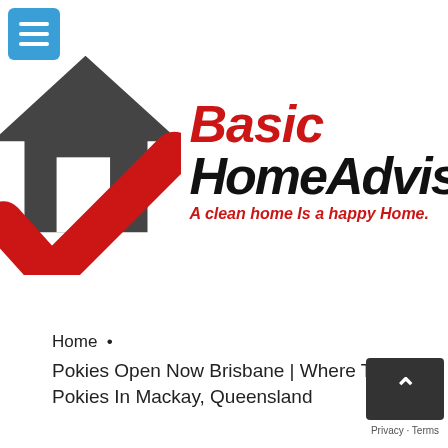[Figure (logo): Basic HomeAdvisor logo: dark grey house silhouette with red checkmark, red italic 'Basic' above bold italic 'HomeAdvisor', red italic tagline 'A clean home Is a happy Home.']
Home •
Pokies Open Now Brisbane | Where To Play Pokies In Mackay, Queensland